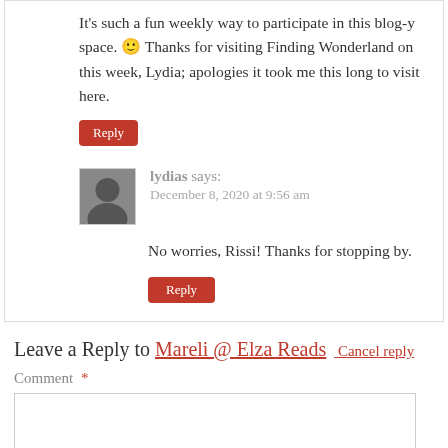It's such a fun weekly way to participate in this blog-y space. 🙂 Thanks for visiting Finding Wonderland on this week, Lydia; apologies it took me this long to visit here.
Reply
lydias says:
December 8, 2020 at 9:56 am
No worries, Rissi! Thanks for stopping by.
Reply
Leave a Reply to Mareli @ Elza Reads Cancel reply
Comment *